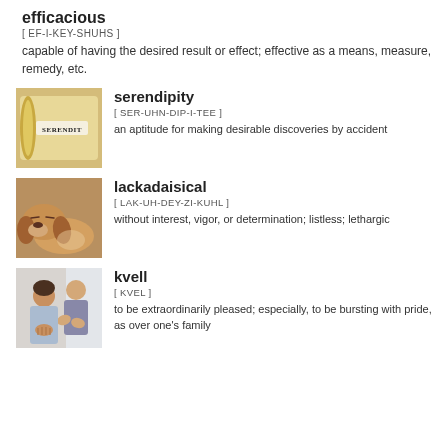efficacious
[ EF-I-KEY-SHUHS ]
capable of having the desired result or effect; effective as a means, measure, remedy, etc.
[Figure (illustration): Rolled paper with the word SERENDIPITY on it, tan/beige background]
serendipity
[ SER-UHN-DIP-I-TEE ]
an aptitude for making desirable discoveries by accident
[Figure (photo): A dog (beagle) resting its head, looking sleepy or lazy]
lackadaisical
[ LAK-UH-DEY-ZI-KUHL ]
without interest, vigor, or determination; listless; lethargic
[Figure (photo): People clapping, woman in foreground with clasped hands, man in background applauding]
kvell
[ KVEL ]
to be extraordinarily pleased; especially, to be bursting with pride, as over one's family